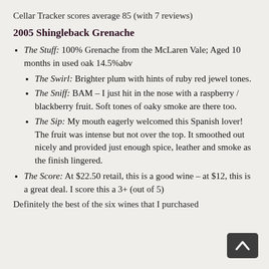Cellar Tracker scores average 85 (with 7 reviews)
2005 Shingleback Grenache
The Stuff: 100% Grenache from the McLaren Vale; Aged 10 months in used oak 14.5%abv
The Swirl: Brighter plum with hints of ruby red jewel tones.
The Sniff: BAM – I just hit in the nose with a raspberry / blackberry fruit. Soft tones of oaky smoke are there too.
The Sip: My mouth eagerly welcomed this Spanish lover! The fruit was intense but not over the top. It smoothed out nicely and provided just enough spice, leather and smoke as the finish lingered.
The Score: At $22.50 retail, this is a good wine – at $12, this is a great deal. I score this a 3+ (out of 5)
Definitely the best of the six wines that I purchased